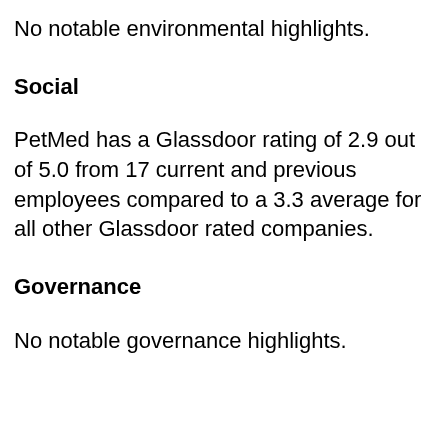No notable environmental highlights.
Social
PetMed has a Glassdoor rating of 2.9 out of 5.0 from 17 current and previous employees compared to a 3.3 average for all other Glassdoor rated companies.
Governance
No notable governance highlights.